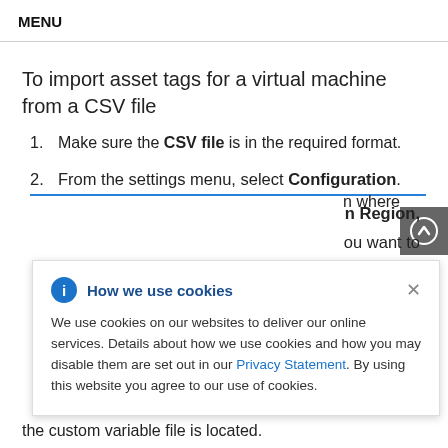MENU
To import asset tags for a virtual machine from a CSV file
Make sure the CSV file is in the required format.
From the settings menu, select Configuration.
[Figure (screenshot): Cookie consent popup overlay with 'How we use cookies' title, info icon, close button, body text about cookie usage with a Privacy Statement link, and partial background content showing 'n Region,' and 'ou want to' and 'n where']
the custom variable file is located.